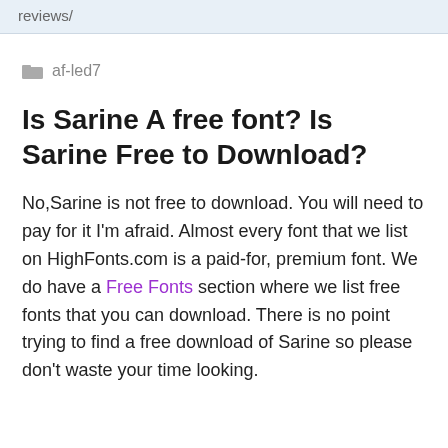reviews/
af-led7
Is Sarine A free font? Is Sarine Free to Download?
No,Sarine is not free to download. You will need to pay for it I'm afraid. Almost every font that we list on HighFonts.com is a paid-for, premium font. We do have a Free Fonts section where we list free fonts that you can download. There is no point trying to find a free download of Sarine so please don't waste your time looking.